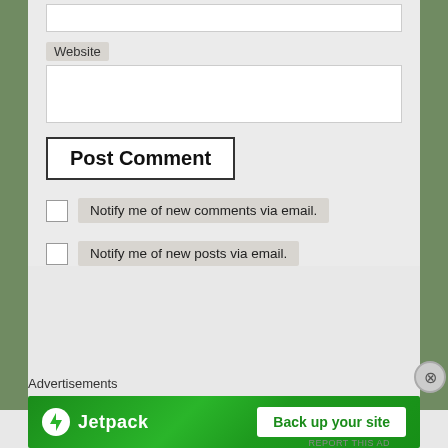Website
Post Comment
Notify me of new comments via email.
Notify me of new posts via email.
Advertisements
[Figure (screenshot): Jetpack advertisement banner with logo and 'Back up your site' button on green background]